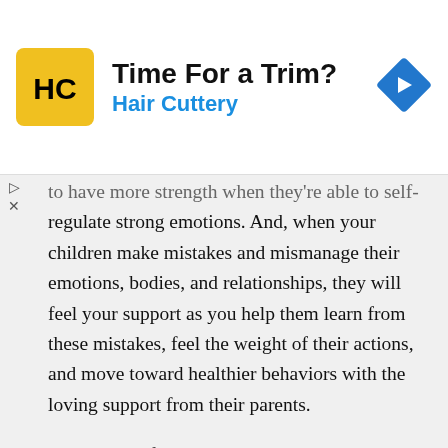[Figure (other): Hair Cuttery advertisement banner with yellow square logo showing HC letters, title 'Time For a Trim?', subtitle 'Hair Cuttery', and a blue diamond-shaped navigation arrow icon on the right]
to have more strength when they're able to self-regulate strong emotions. And, when your children make mistakes and mismanage their emotions, bodies, and relationships, they will feel your support as you help them learn from these mistakes, feel the weight of their actions, and move toward healthier behaviors with the loving support from their parents.
It's common for parents to get polarized between requiring their kids to figure things out on their own or stepping in and doing everything for them so they don't to suffer. Both of these extremes fail to set our kids up to understand themselves and tolerate distressing emotions. Instead, we want